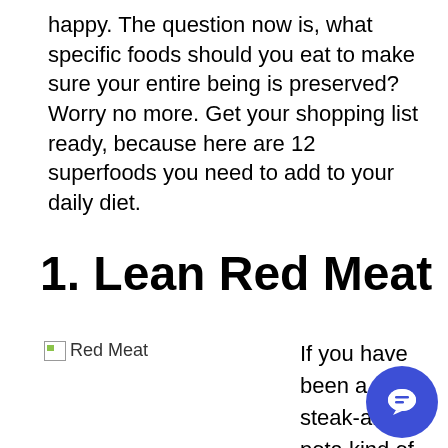happy. The question now is, what specific foods should you eat to make sure your entire being is preserved? Worry no more. Get your shopping list ready, because here are 12 superfoods you need to add to your daily diet.
1. Lean Red Meat
[Figure (photo): Broken image placeholder labeled 'Red Meat']
If you have been a steak-and-pota- kind of